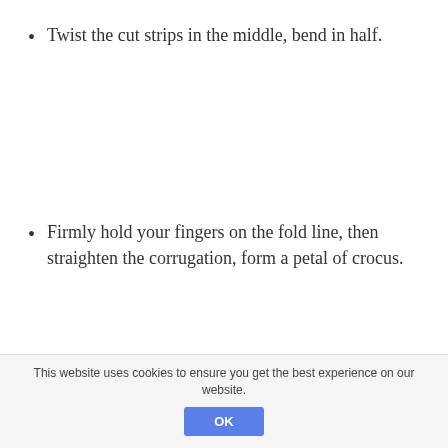Twist the cut strips in the middle, bend in half.
Firmly hold your fingers on the fold line, then straighten the corrugation, form a petal of crocus.
This website uses cookies to ensure you get the best experience on our website.
OK